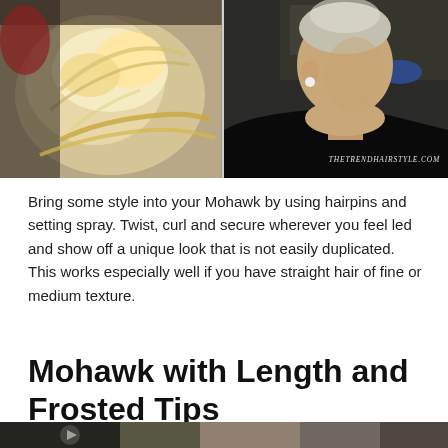[Figure (photo): Two side-by-side salon photos: left shows back of a person with blonde hair styled in an updo/bun; right shows a person from behind with a shaved undercut mohawk style sitting in a salon chair wearing a black cape. Watermark reads THETRENDHAIRSTYLE.COM]
Bring some style into your Mohawk by using hairpins and setting spray. Twist, curl and secure wherever you feel led and show off a unique look that is not easily duplicated. This works especially well if you have straight hair of fine or medium texture.
Mohawk with Length and Frosted Tips
[Figure (photo): Bottom portion of another salon/hairstyle photo, partially visible at the bottom of the page.]